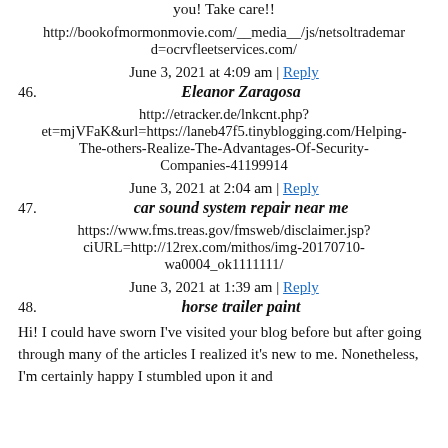you! Take care!!
http://bookofmormonmovie.com/__media__/js/netsoltrademark...d=ocrvfleetservices.com/
June 3, 2021 at 4:09 am | Reply
46. Eleanor Zaragosa
http://etracker.de/lnkcnt.php?et=mjVFaK&url=https://laneb47f5.tinyblogging.com/Helping-The-others-Realize-The-Advantages-Of-Security-Companies-41199914
June 3, 2021 at 2:04 am | Reply
47. car sound system repair near me
https://www.fms.treas.gov/fmsweb/disclaimer.jsp?ciURL=http://12rex.com/mithos/img-20170710-wa0004_ok1111111/
June 3, 2021 at 1:39 am | Reply
48. horse trailer paint
Hi! I could have sworn I've visited your blog before but after going through many of the articles I realized it's new to me. Nonetheless, I'm certainly happy I stumbled upon it and